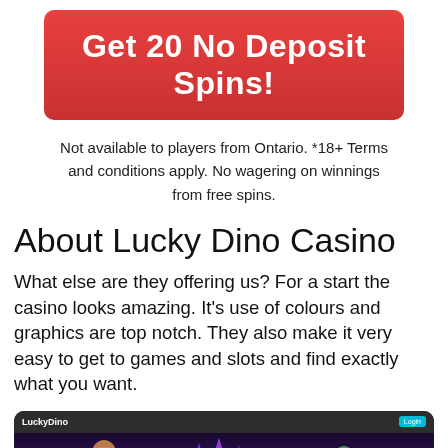[Figure (other): Red rounded rectangle CTA button with white bold text reading 'Get 20 No Deposit Spins!']
Not available to players from Ontario. *18+ Terms and conditions apply. No wagering on winnings from free spins.
About Lucky Dino Casino
What else are they offering us? For a start the casino looks amazing. It’s use of colours and graphics are top notch. They also make it very easy to get to games and slots and find exactly what you want.
[Figure (screenshot): Screenshot of LuckyDino casino website showing dark themed interface with colorful game characters and crystal graphics]